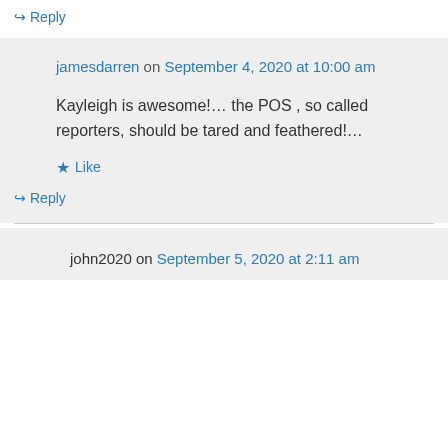↪ Reply
jamesdarren on September 4, 2020 at 10:00 am
Kayleigh is awesome!... the POS , so called reporters, should be tared and feathered!...
★ Like
↪ Reply
john2020 on September 5, 2020 at 2:11 am